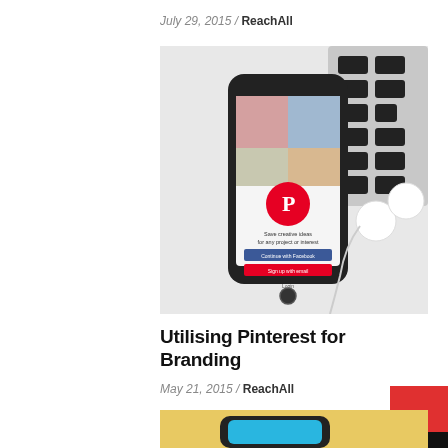July 29, 2015 / ReachAll
[Figure (photo): Smartphone displaying the Pinterest app login screen, with white earbuds beside it and a laptop keyboard visible in the background, on a white surface.]
Utilising Pinterest for Branding
May 21, 2015 / ReachAll
[Figure (photo): Partial view of a smartphone on a yellow background, showing the bottom portion of the device.]